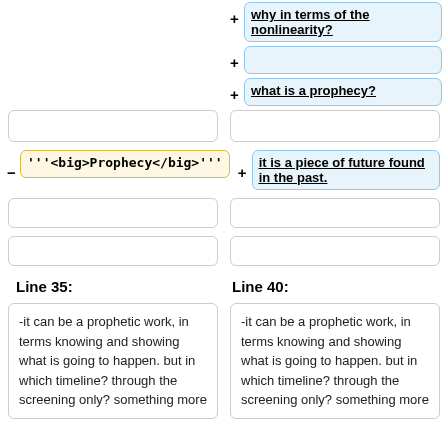[Figure (screenshot): Diff view showing two columns of wiki-style edit comparison boxes. Right column top has blue highlighted boxes with underlined bold text: 'why in terms of the nonlinearity?', an empty box, and 'what is a prophecy?'. Left column has an empty box and a yellow highlighted box with code text "'''<big>Prophecy</big>'''". Right column has a blue box with 'it is a piece of future found in the past.' Both columns have empty boxes below. Section headers 'Line 35:' and 'Line 40:' appear. Bottom section shows two text boxes with identical text starting '-it can be a prophetic work, in terms knowing and showing what is going to happen. but in which timeline? through the screening only? something more']